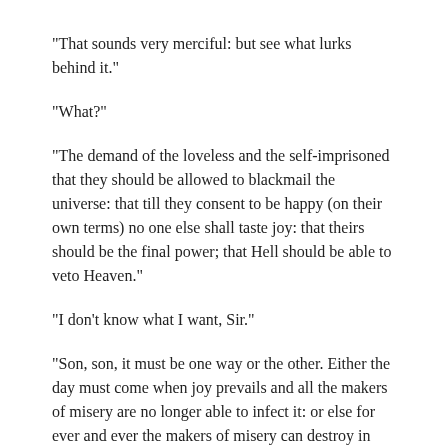"That sounds very merciful: but see what lurks behind it."
"What?"
"The demand of the loveless and the self-imprisoned that they should be allowed to blackmail the universe: that till they consent to be happy (on their own terms) no one else shall taste joy: that theirs should be the final power; that Hell should be able to veto Heaven."
"I don't know what I want, Sir."
"Son, son, it must be one way or the other. Either the day must come when joy prevails and all the makers of misery are no longer able to infect it: or else for ever and ever the makers of misery can destroy in others the happiness they reject for themselves. I know it has a grand sound to say ye'll accept no salvation which leaves even one creature in the dark outside. But really how do it concern you? For in. Manner you have sort of